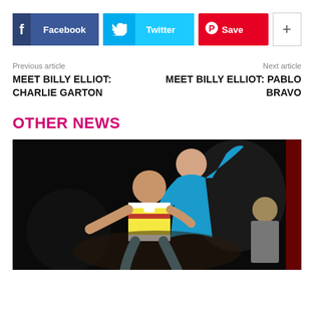[Figure (other): Social sharing buttons: Facebook, Twitter, Pinterest Save, and a plus button]
Previous article
MEET BILLY ELLIOT: CHARLIE GARTON
Next article
MEET BILLY ELLIOT: PABLO BRAVO
OTHER NEWS
[Figure (photo): A boy in a striped polo shirt dancing on stage with a female dancer in a blue leotard behind him, dark stage background]